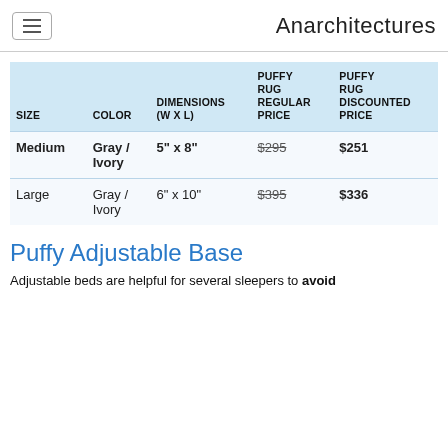Anarchitectures
| SIZE | COLOR | DIMENSIONS (W x L) | PUFFY RUG REGULAR PRICE | PUFFY RUG DISCOUNTED PRICE |
| --- | --- | --- | --- | --- |
| Medium | Gray / Ivory | 5" x 8" | $295 | $251 |
| Large | Gray / Ivory | 6" x 10" | $395 | $336 |
Puffy Adjustable Base
Adjustable beds are helpful for several sleepers to avoid